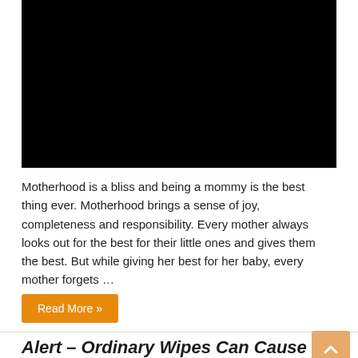[Figure (photo): Black rectangular image placeholder at the top of the article]
Motherhood is a bliss and being a mommy is the best thing ever. Motherhood brings a sense of joy, completeness and responsibility. Every mother always looks out for the best for their little ones and gives them the best. But while giving her best for her baby, every mother forgets …
Read More »
Alert – Ordinary Wipes Can Cause Diaper Rashes Too